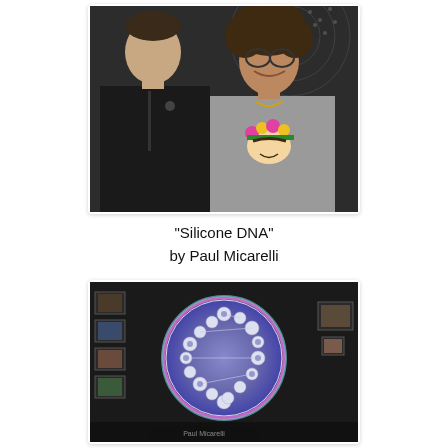[Figure (photo): Two people standing together posing for a photo. One person on the left wears a dark black zip-up jacket. The person on the right has curly hair and wears glasses and a gray graphic t-shirt with a Frida Kahlo design with colorful flowers. Background has a decorative patterned wall.]
"Silicone DNA"
by Paul Micarelli
[Figure (photo): Artwork titled 'Silicone DNA' by Paul Micarelli. A framed digital or photographic artwork displayed on a dark wall among other framed artworks. The piece shows a circular composition with a blue-purple gradient background containing a fractal or DNA-like spiral structure made of white and metallic bead-like forms arranged in a double helix pattern. The circle has a glowing colorful edge effect.]